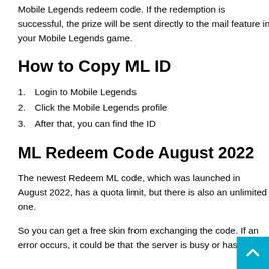Mobile Legends redeem code. If the redemption is successful, the prize will be sent directly to the mail feature in your Mobile Legends game.
How to Copy ML ID
1. Login to Mobile Legends
2. Click the Mobile Legends profile
3. After that, you can find the ID
ML Redeem Code August 2022
The newest Redeem ML code, which was launched in August 2022, has a quota limit, but there is also an unlimited one.
So you can get a free skin from exchanging the code. If an error occurs, it could be that the server is busy or has been